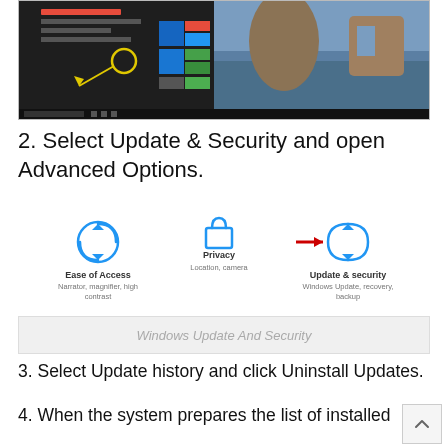[Figure (screenshot): Windows 10 Start menu screenshot showing app list on left, tiles on right with a nature scene wallpaper (tall rocks in ocean), and taskbar at bottom. Yellow circle highlights settings icon with arrow annotation.]
2. Select Update & Security and open Advanced Options.
[Figure (screenshot): Windows Settings icons showing Ease of Access (clock with arrow icon, subtitle: Narrator, magnifier, high contrast), Privacy (padlock icon, subtitle: Location, camera), and Update & security (circular arrows icon, subtitle: Windows Update, recovery, backup) with a red arrow pointing to Update & security icon.]
[Figure (screenshot): Light gray box with italic text: Windows Update And Security]
3. Select Update history and click Uninstall Updates.
4. When the system prepares the list of installed